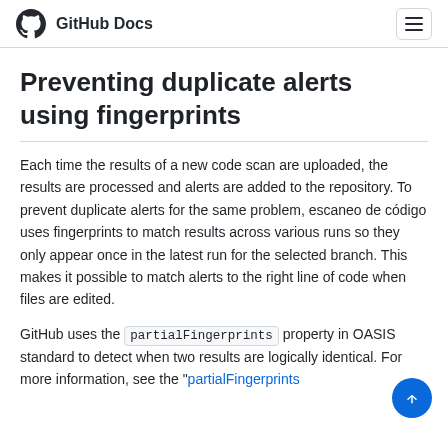GitHub Docs
Preventing duplicate alerts using fingerprints
Each time the results of a new code scan are uploaded, the results are processed and alerts are added to the repository. To prevent duplicate alerts for the same problem, escaneo de código uses fingerprints to match results across various runs so they only appear once in the latest run for the selected branch. This makes it possible to match alerts to the right line of code when files are edited.
GitHub uses the partialFingerprints property in OASIS standard to detect when two results are logically identical. For more information, see the "partialFingerprints